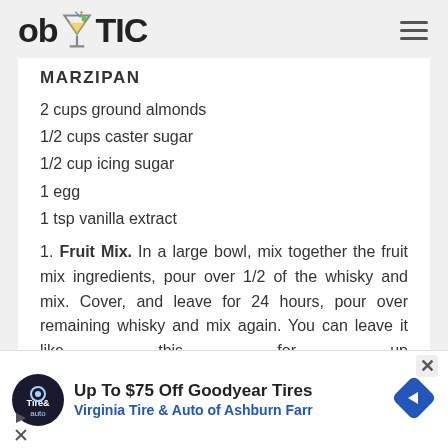ob TIC
MARZIPAN
2 cups ground almonds
1/2 cups caster sugar
1/2 cup icing sugar
1 egg
1 tsp vanilla extract
1. Fruit Mix. In a large bowl, mix together the fruit mix ingredients, pour over 1/2 of the whisky and mix. Cover, and leave for 24 hours, pour over remaining whisky and mix again. You can leave it like this for up to three weeks, just remember to stir it
Up To $75 Off Goodyear Tires Virginia Tire & Auto of Ashburn Farr